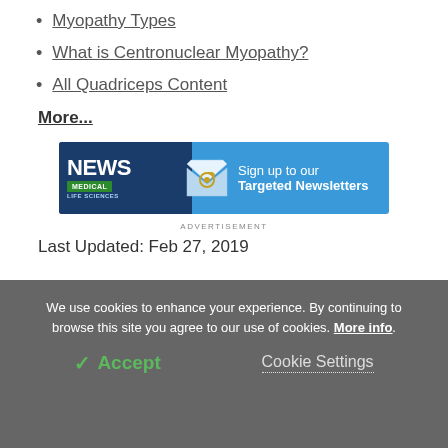Myopathy Types
What is Centronuclear Myopathy?
All Quadriceps Content
More...
[Figure (infographic): News Medical Life Sciences advertisement banner: Sign up to our Targeted Newsletters]
ADVERTISEMENT
Last Updated: Feb 27, 2019
We use cookies to enhance your experience. By continuing to browse this site you agree to our use of cookies. More info.
✓ Accept
Cookie Settings